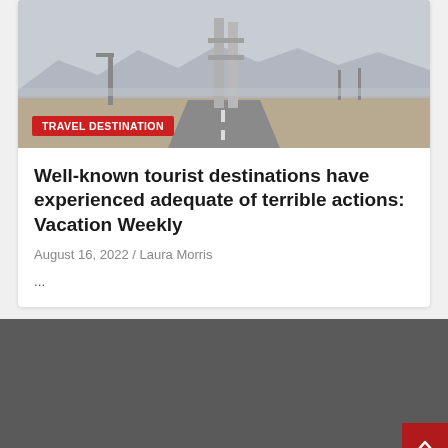[Figure (photo): Outdoor highway/bridge scene with desert landscape, mountains in background, overcast sky]
TRAVEL DESTINATION
Well-known tourist destinations have experienced adequate of terrible actions: Vacation Weekly
August 16, 2022 / Laura Morris
...
[Figure (other): Dark gray footer/background section with a red scroll-to-top button in the bottom right]